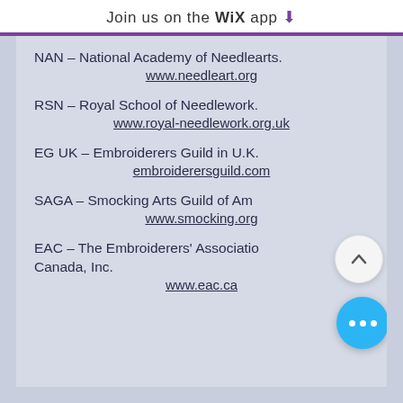Join us on the WiX app ↓
NAN – National Academy of Needlearts.
www.needleart.org
RSN – Royal School of Needlework.
www.royal-needlework.org.uk
EG UK – Embroiderers Guild in U.K.
embroiderersguild.com
SAGA – Smocking Arts Guild of Am...
www.smocking.org
EAC – The Embroiderers' Association of Canada, Inc.
www.eac.ca